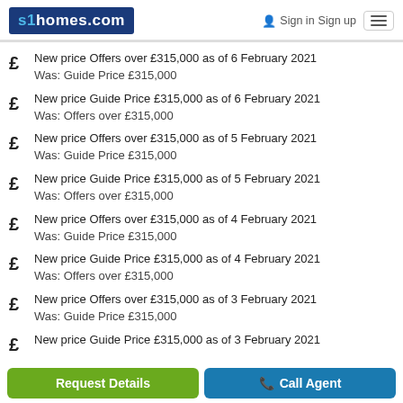s1homes.com | Sign in | Sign up
New price Offers over £315,000 as of 6 February 2021
Was: Guide Price £315,000
New price Guide Price £315,000 as of 6 February 2021
Was: Offers over £315,000
New price Offers over £315,000 as of 5 February 2021
Was: Guide Price £315,000
New price Guide Price £315,000 as of 5 February 2021
Was: Offers over £315,000
New price Offers over £315,000 as of 4 February 2021
Was: Guide Price £315,000
New price Guide Price £315,000 as of 4 February 2021
Was: Offers over £315,000
New price Offers over £315,000 as of 3 February 2021
Was: Guide Price £315,000
New price Guide Price £315,000 as of 3 February 2021
Request Details | Call Agent